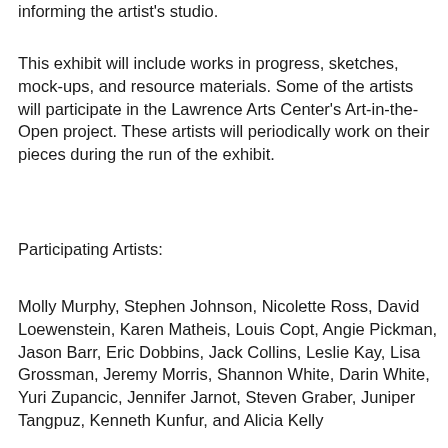informing the artist's studio.
This exhibit will include works in progress, sketches, mock-ups, and resource materials. Some of the artists will participate in the Lawrence Arts Center's Art-in-the-Open project. These artists will periodically work on their pieces during the run of the exhibit.
Participating Artists:
Molly Murphy, Stephen Johnson, Nicolette Ross, David Loewenstein, Karen Matheis, Louis Copt, Angie Pickman, Jason Barr, Eric Dobbins, Jack Collins, Leslie Kay, Lisa Grossman, Jeremy Morris, Shannon White, Darin White, Yuri Zupancic, Jennifer Jarnot, Steven Graber, Juniper Tangpuz, Kenneth Kunfur, and Alicia Kelly